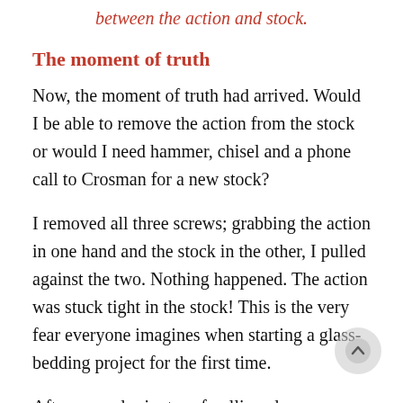between the action and stock.
The moment of truth
Now, the moment of truth had arrived. Would I be able to remove the action from the stock or would I need hammer, chisel and a phone call to Crosman for a new stock?
I removed all three screws; grabbing the action in one hand and the stock in the other, I pulled against the two. Nothing happened. The action was stuck tight in the stock! This is the very fear everyone imagines when starting a glass-bedding project for the first time.
After several minutes of pulling along different parts of the stock and action, I grabbed one of the forearms of the stock and pulled it away from the action. I was rewarded